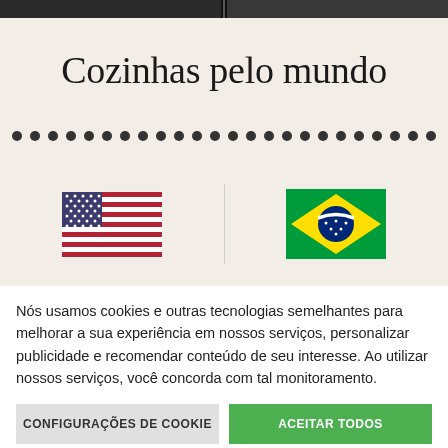[Figure (photo): Dark image strip at top of page, two side-by-side photos cropped to a thin strip]
Cozinhas pelo mundo
[Figure (infographic): Row of decorative dots/bullet separators]
[Figure (illustration): USA flag and Brazil flag side by side with a vertical divider]
Nós usamos cookies e outras tecnologias semelhantes para melhorar a sua experiência em nossos serviços, personalizar publicidade e recomendar conteúdo de seu interesse. Ao utilizar nossos serviços, você concorda com tal monitoramento.
CONFIGURAÇÕES DE COOKIE
ACEITAR TODOS